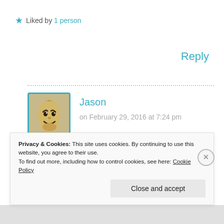★ Liked by 1 person
Reply
Jason
on February 29, 2016 at 7:24 pm
[Figure (photo): Avatar image of a banana with a cartoon face drawn on it]
Thanks! I never really favoured Superman, Batman had a much better backstory and so much cool stuff…
Privacy & Cookies: This site uses cookies. By continuing to use this website, you agree to their use.
To find out more, including how to control cookies, see here: Cookie Policy
Close and accept